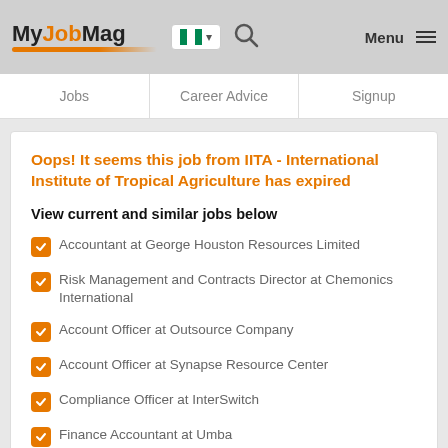MyJobMag
Jobs | Career Advice | Signup
Oops! It seems this job from IITA - International Institute of Tropical Agriculture has expired
View current and similar jobs below
Accountant at George Houston Resources Limited
Risk Management and Contracts Director at Chemonics International
Account Officer at Outsource Company
Account Officer at Synapse Resource Center
Compliance Officer at InterSwitch
Finance Accountant at Umba